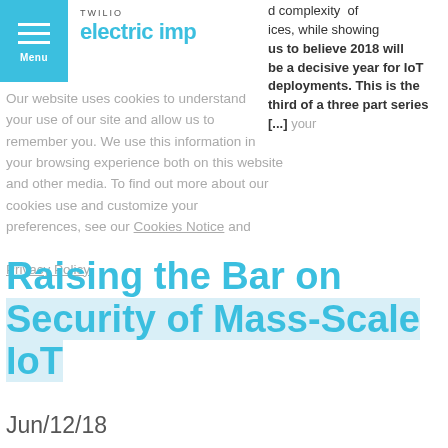TWILIO electric imp
d complexity of ices, while showing us to believe 2018 will be a decisive year for IoT deployments. This is the third of a three part series [...] your browsing experience both on this website and other media. To find out more about our cookies use and customize your preferences, see our Cookies Notice and Privacy Policy.
Our website uses cookies to understand your use of our site and allow us to remember you. We use this information in your browsing experience both on this website and other media. To find out more about our cookies use and customize your preferences, see our Cookies Notice and Privacy Policy.
Raising the Bar on Security of Mass-Scale IoT
Jun/12/18